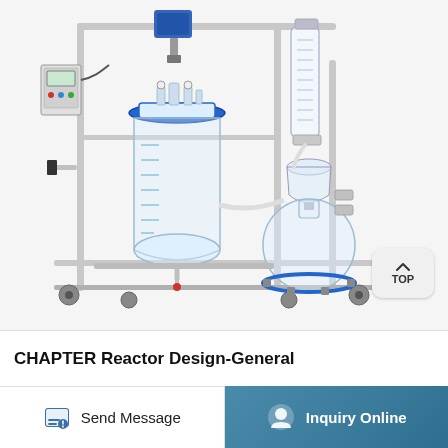[Figure (photo): Laboratory glass reactor system mounted on stainless steel frame with wheels. Includes a large glass vessel with blue collar fitting, motorized overhead stirrer with blue motor, control panel on left, condenser column on right, round-bottom flask on lower right with blue support ring, connecting tubing and valves throughout. The apparatus sits on a multi-tier stainless steel frame with caster wheels.]
CHAPTER Reactor Design-General
Send Message
Inquiry Online